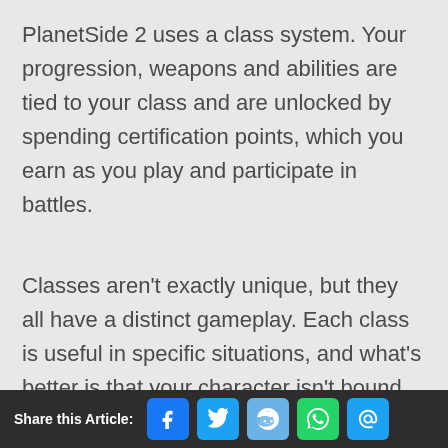PlanetSide 2 uses a class system. Your progression, weapons and abilities are tied to your class and are unlocked by spending certification points, which you earn as you play and participate in battles.
Classes aren't exactly unique, but they all have a distinct gameplay. Each class is useful in specific situations, and what's better is that your character isn't bound to a class forever! Is your squad in need of a medic or an engineer? Go to an equipment terminal and make the switch.
Share this Article: